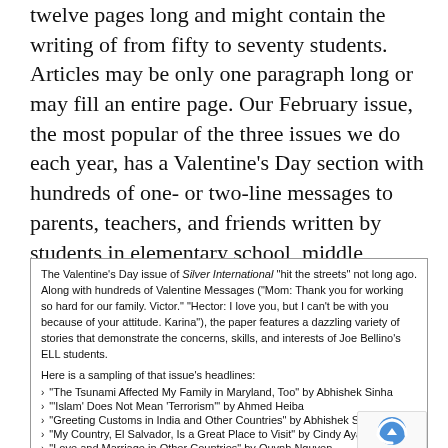twelve pages long and might contain the writing of from fifty to seventy students. Articles may be only one paragraph long or may fill an entire page. Our February issue, the most popular of the three issues we do each year, has a Valentine's Day section with hundreds of one- or two-line messages to parents, teachers, and friends written by students in elementary school, middle school, and high school. (See Figure 1.)
The Valentine's Day issue of Silver International "hit the streets" not long ago. Along with hundreds of Valentine Messages ("Mom: Thank you for working so hard for our family. Victor." "Hector: I love you, but I can't be with you because of your attitude. Karina"), the paper features a dazzling variety of stories that demonstrate the concerns, skills, and interests of Joe Bellino's ELL students.
Here is a sampling of that issue's headlines:
"The Tsunami Affected My Family in Maryland, Too" by Abhishek Sinha
"'Islam' Does Not Mean 'Terrorism'" by Ahmed Heiba
"Greeting Customs in India and Other Countries" by Abhishek Sinha
"My Country, El Salvador, Is a Great Place to Visit" by Cindy Ayala
"Love and Marriage in Other Countries" by Quynh Nguyen